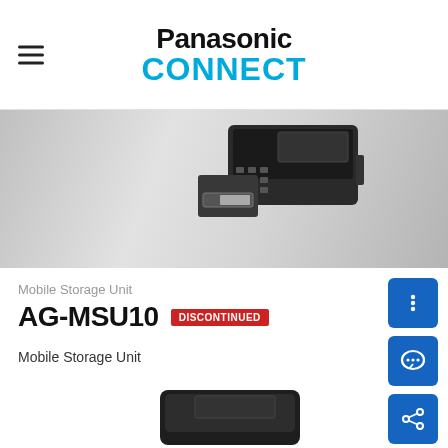Panasonic CONNECT
[Figure (photo): Panasonic AG-MSU10 Mobile Storage Unit device shown on a gray gradient background banner]
Mobile Storage Unit
AG-MSU10
DISCONTINUED
Mobile Storage Unit
[Figure (photo): Partial bottom view of Panasonic AG-MSU10 device in black]
[Figure (other): Three blue action buttons: vertical dots menu, chat bubble, share icon]